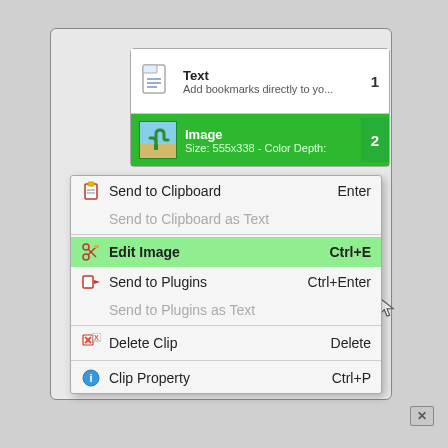[Figure (screenshot): Screenshot of a clipboard manager application showing a context menu. The clip list shows two items: 'Text' (item 1) and 'Image' (item 2, selected in green showing 'Size: 555x338 - Color Depth:'). A right-click context menu is open with options: 'Send to Clipboard' (Enter), 'Send to Clipboard as Text' (disabled), 'Edit Image' (Ctrl+E, highlighted in green), 'Send to Plugins' (Ctrl+Enter), 'Send to Plugins as Text' (disabled), 'Delete Clip' (Delete), 'Clip Property' (Ctrl+P). A mouse cursor points at 'Edit Image'.]